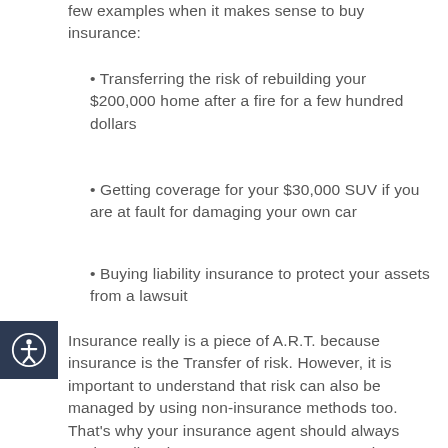few examples when it makes sense to buy insurance:
• Transferring the risk of rebuilding your $200,000 home after a fire for a few hundred dollars
• Getting coverage for your $30,000 SUV if you are at fault for damaging your own car
• Buying liability insurance to protect your assets from a lawsuit
Insurance really is a piece of A.R.T. because insurance is the Transfer of risk. However, it is important to understand that risk can also be managed by using non-insurance methods too. That's why your insurance agent should always explore all options to manage your personal